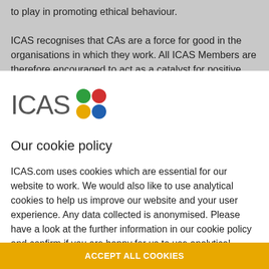to play in promoting ethical behaviour. ICAS recognises that CAs are a force for good in the organisations in which they work. All ICAS Members are therefore encouraged to act as a catalyst for positive
[Figure (logo): ICAS logo: letters I, C, A, S in grey with four colored dots (green, red, yellow, blue) arranged in a 2x2 grid]
Our cookie policy
ICAS.com uses cookies which are essential for our website to work. We would also like to use analytical cookies to help us improve our website and your user experience. Any data collected is anonymised. Please have a look at the further information in our cookie policy and confirm if you are happy for us to use analytical cookies:
ACCEPT ALL COOKIES